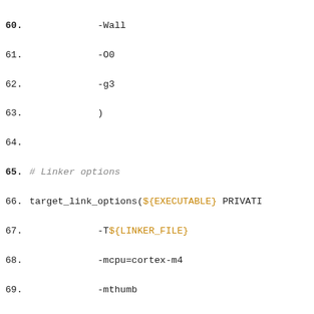Code listing lines 60-83, CMakeLists.txt with compiler and linker options for ARM Cortex-M4 target